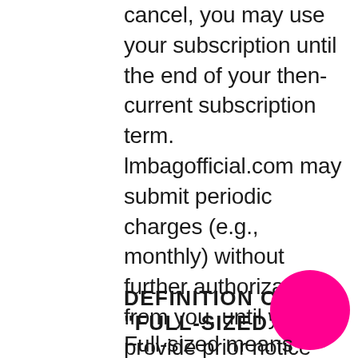cancel, you may use your subscription until the end of your then-current subscription term. lmbagofficial.com may submit periodic charges (e.g., monthly) without further authorization from you, until you provide prior notice that you have terminated this authorization or wish to change your payment method. Such notice will not affect charges submitted before lmbagofficial.com reasonably could act.
DEFINITION OF "FULL-SIZED"
Full-sized means anything other